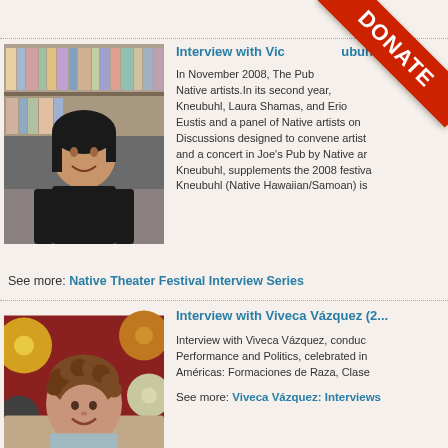[Figure (photo): Photo of Victoria Kneubuhl, a woman with dark hair seated in front of bookshelves, smiling]
Interview with Victoria Kneubuhl
In November 2008, The Public Theater hosted its second annual Native Theater Festival, featuring Native artists. In its second year, the festival included works by Victoria Kneubuhl, Laura Shamas, and Eric Gansworth, individually commissioned by Oskar Eustis and a panel of Native artists on the Public Theater's Native Theater Discussions designed to convene artists and communities, performances, and a concert in Joe's Pub by Native artists. This interview with Victoria Kneubuhl, supplements the 2008 festival. Victoria Kneubuhl (Native Hawaiian/Samoan) is...
See more: Native Theater Festival Interview Series
[Figure (photo): Photo of Viveca Vázquez, a woman with curly hair smiling, seated in front of colorful abstract artwork]
Interview with Viveca Vázquez (2...
Interview with Viveca Vázquez, conducted at the conference Performance and Politics, celebrated in... Américas: Formaciones de Raza, Clase...
See more: Viveca Vázquez: Interviews